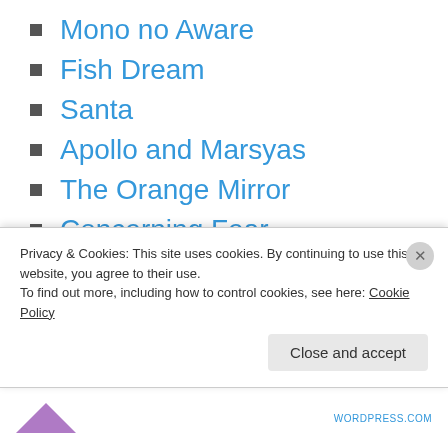Mono no Aware
Fish Dream
Santa
Apollo and Marsyas
The Orange Mirror
Concerning Fear
Man and the Animals
The Little White Parrot
Good Rats
Colonies on Venus
Privacy & Cookies: This site uses cookies. By continuing to use this website, you agree to their use.
To find out more, including how to control cookies, see here: Cookie Policy
Close and accept